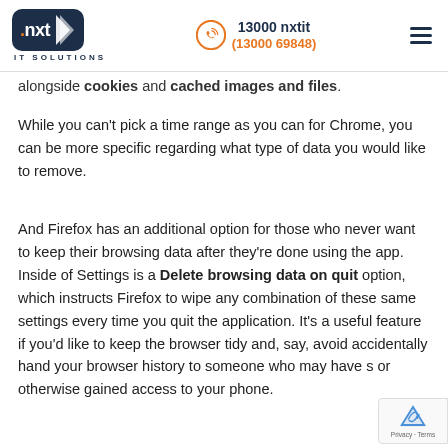.nxt IT SOLUTIONS — 13000 nxtit (13000 69848)
alongside cookies and cached images and files.
While you can't pick a time range as you can for Chrome, you can be more specific regarding what type of data you would like to remove.
And Firefox has an additional option for those who never want to keep their browsing data after they're done using the app. Inside of Settings is a Delete browsing data on quit option, which instructs Firefox to wipe any combination of these same settings every time you quit the application. It's a useful feature if you'd like to keep the browser tidy and, say, avoid accidentally handing your browser history to someone who may have stolen or otherwise gained access to your phone.